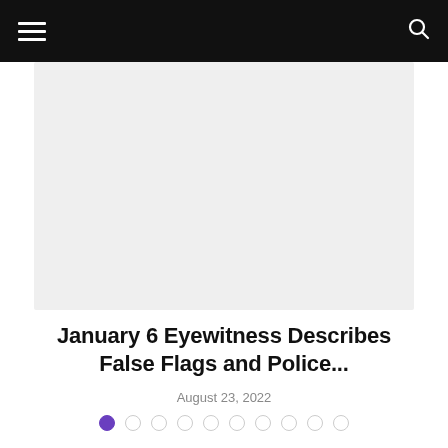Navigation header with hamburger menu and search icon
[Figure (photo): Light grey rectangular image placeholder]
January 6 Eyewitness Describes False Flags and Police...
August 23, 2022
Pagination dots: 10 dots, first dot active (purple), rest empty